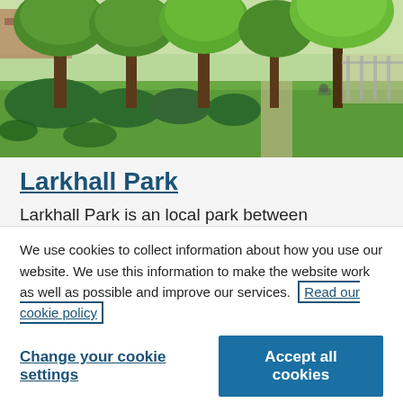[Figure (photo): A sunny park scene with tall trees lining a path, green grass, shrubs and bushes, with a playground visible in the background on the right.]
Larkhall Park
Larkhall Park is an local park between
We use cookies to collect information about how you use our website. We use this information to make the website work as well as possible and improve our services. Read our cookie policy
Change your cookie settings
Accept all cookies